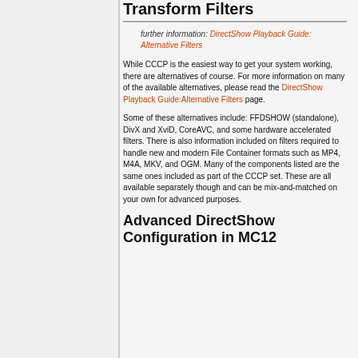Transform Filters
further information: DirectShow Playback Guide: Alternative Filters
While CCCP is the easiest way to get your system working, there are alternatives of course. For more information on many of the available alternatives, please read the DirectShow Playback Guide:Alternative Filters page.
Some of these alternatives include: FFDSHOW (standalone), DivX and XviD, CoreAVC, and some hardware accelerated filters. There is also information included on filters required to handle new and modern File Container formats such as MP4, M4A, MKV, and OGM. Many of the components listed are the same ones included as part of the CCCP set. These are all available separately though and can be mix-and-matched on your own for advanced purposes.
Advanced DirectShow Configuration in MC12